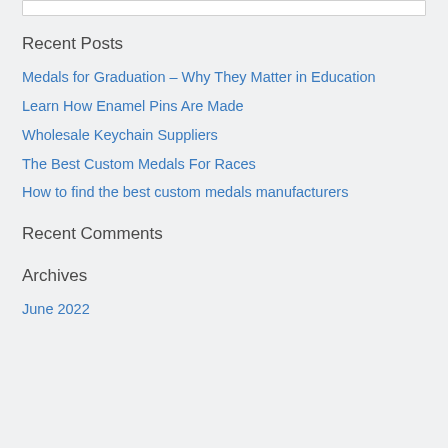Recent Posts
Medals for Graduation – Why They Matter in Education
Learn How Enamel Pins Are Made
Wholesale Keychain Suppliers
The Best Custom Medals For Races
How to find the best custom medals manufacturers
Recent Comments
Archives
June 2022